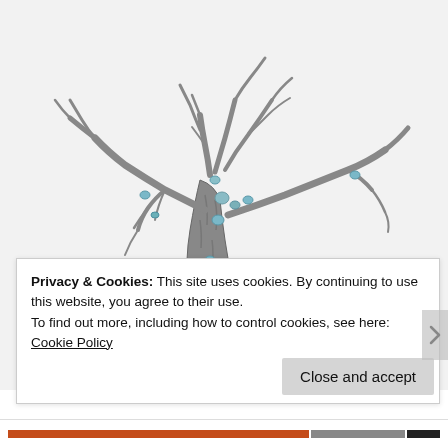[Figure (logo): Warhammer Community logo with text and small icon]
[Figure (photo): A painted Warhammer miniature figure of a tree-like creature (Sylvaneth/Treeman) made of twisted branches and wood, with blue/green gem accents, photographed on a white background]
[Figure (logo): Dark brown circular icon with a white animal/creature silhouette, top-right corner]
Privacy & Cookies: This site uses cookies. By continuing to use this website, you agree to their use.
To find out more, including how to control cookies, see here: Cookie Policy
Close and accept